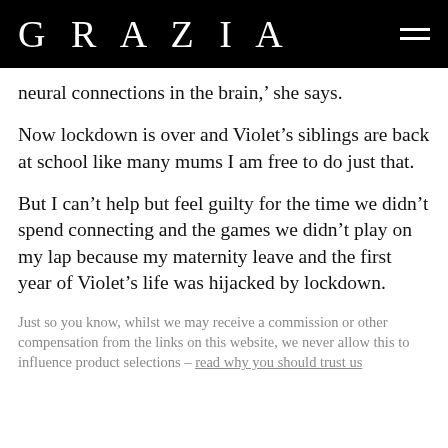GRAZIA
neural connections in the brain,' she says.
Now lockdown is over and Violet's siblings are back at school like many mums I am free to do just that.
But I can't help but feel guilty for the time we didn't spend connecting and the games we didn't play on my lap because my maternity leave and the first year of Violet's life was hijacked by lockdown.
Just so you know, whilst we may receive a commission or other compensation from the links on this website, we never allow this to influence product selections – read why you should trust us